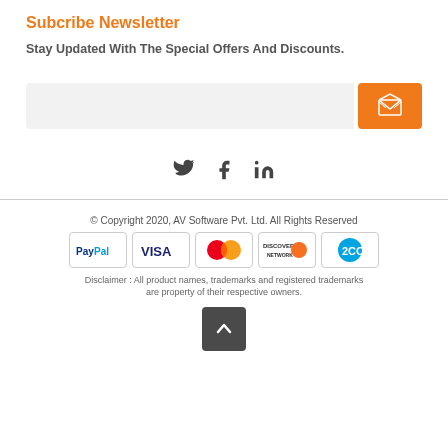Subcribe Newsletter
Stay Updated With The Special Offers And Discounts.
[Figure (other): Email subscription input field with orange submit button containing an envelope icon]
[Figure (other): Social media icons: Twitter, Facebook, LinkedIn]
© Copyright 2020, AV Software Pvt. Ltd. All Rights Reserved
[Figure (other): Payment method logos: PayPal, VISA, MasterCard, Discover, 2CO]
Disclaimer : All product names, trademarks and registered trademarks are property of their respective owners.
[Figure (other): Back to top button with upward chevron arrow]